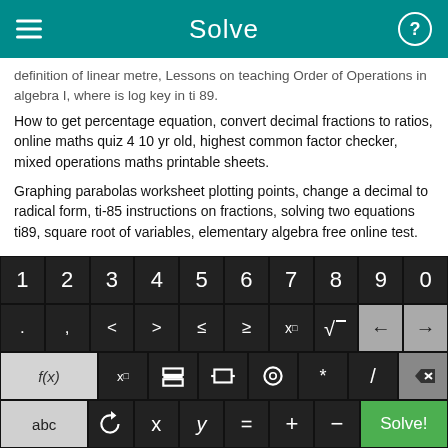Solve
definition of linear metre, Lessons on teaching Order of Operations in algebra I, where is log key in ti 89.
How to get percentage equation, convert decimal fractions to ratios, online maths quiz 4 10 yr old, highest common factor checker, mixed operations maths printable sheets.
Graphing parabolas worksheet plotting points, change a decimal to radical form, ti-85 instructions on fractions, solving two equations ti89, square root of variables, elementary algebra free online test.
[Figure (screenshot): On-screen math keyboard with rows: digits 1-9,0; symbols . , < > ≤ ≥ x□ √□ and left/right arrow nav keys; function row f(x) x□ fraction absolute-value bracket * / and backspace; bottom row abc rotate x y = + - and green Solve! button.]